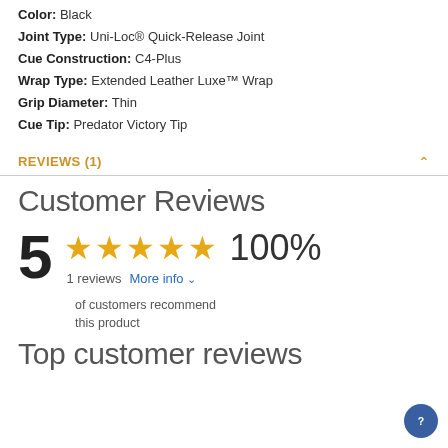Color: Black
Joint Type: Uni-Loc® Quick-Release Joint
Cue Construction: C4-Plus
Wrap Type: Extended Leather Luxe™ Wrap
Grip Diameter: Thin
Cue Tip: Predator Victory Tip
REVIEWS (1)
Customer Reviews
[Figure (other): 5-star rating with 5 gold stars, 100% label, 1 reviews count, and More info link]
of customers recommend this product
Top customer reviews